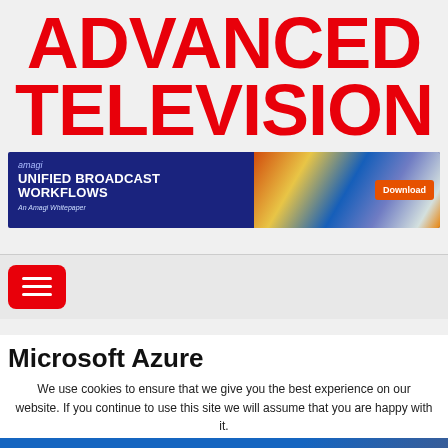ADVANCED TELEVISION
[Figure (screenshot): Amagi advertisement banner: 'UNIFIED BROADCAST WORKFLOWS - An Amagi Whitepaper' with a Download button on a blue background with motion-blur city lights photo on the right]
[Figure (screenshot): Red hamburger/menu button (three horizontal white lines on red rounded rectangle background)]
Microsoft Azure
We use cookies to ensure that we give you the best experience on our website. If you continue to use this site we will assume that you are happy with it.
[Figure (screenshot): BuyDRM at IBC 2022 advertisement: 'Meet with BuyDRM at IBC 2022 SEPTEMBER 9-12 | RAI AMSTERDAM MULTI-DRM | WATERMARKING' with BOOK NOW button, overlaid with OK and reCAPTCHA badge]